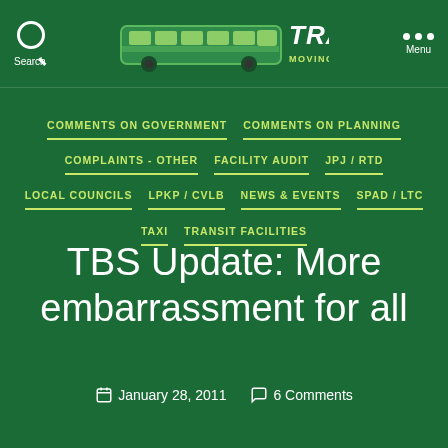[Figure (logo): Transit blog logo with bus graphic and text 'TRANSIT MOVING TRANSIT FORWARD' on green background, with Search icon on left and Menu (three dots) on right]
COMMENTS ON GOVERNMENT
COMMENTS ON PLANNING
COMPLAINTS - OTHER
FACILITY AUDIT
JPJ / RTD
LOCAL COUNCILS
LPKP / CVLB
NEWS & EVENTS
SPAD / LTC
TAXI
TRANSIT FACILITIES
TBS Update: More embarrassment for all
January 28, 2011   6 Comments